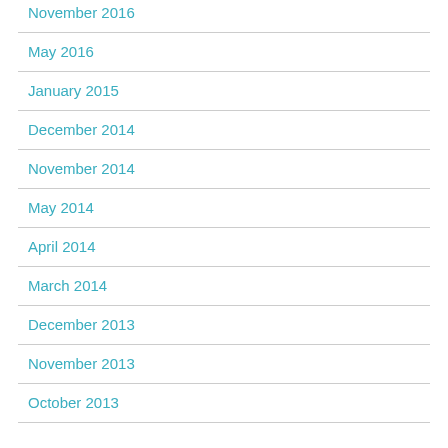November 2016
May 2016
January 2015
December 2014
November 2014
May 2014
April 2014
March 2014
December 2013
November 2013
October 2013